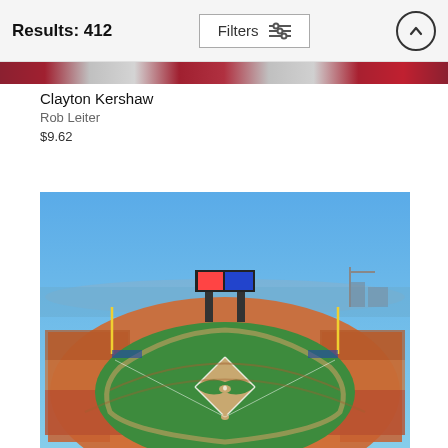Results: 412   Filters
[Figure (photo): Partial cropped photo strip of Clayton Kershaw with red and grey tones]
Clayton Kershaw
Rob Leiter
$9.62
[Figure (photo): Aerial view of a packed baseball stadium (AT&T Park / Oracle Park, San Francisco) showing the full diamond, stands filled with fans, bay in background and blue sky]